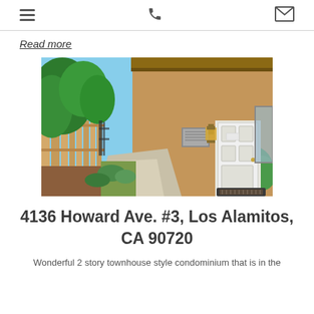Navigation header with hamburger menu, phone icon, and email icon
Read more
[Figure (photo): Exterior photo of a two-story stucco townhouse condominium. A concrete walkway leads to a white front door. The building has brown/tan stucco walls. Green trees and landscaping are on the left side along a wooden fence. A wall-mounted lantern light fixture is beside the door. A doormat is in front of the door.]
4136 Howard Ave. #3, Los Alamitos, CA 90720
Wonderful 2 story townhouse style condominium that is in the